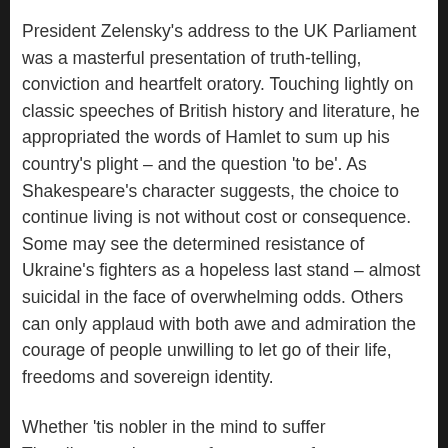President Zelensky's address to the UK Parliament was a masterful presentation of truth-telling, conviction and heartfelt oratory. Touching lightly on classic speeches of British history and literature, he appropriated the words of Hamlet to sum up his country's plight – and the question 'to be'. As Shakespeare's character suggests, the choice to continue living is not without cost or consequence. Some may see the determined resistance of Ukraine's fighters as a hopeless last stand – almost suicidal in the face of overwhelming odds. Others can only applaud with both awe and admiration the courage of people unwilling to let go of their life, freedoms and sovereign identity.
Whether 'tis nobler in the mind to suffer
The slings and arrows of outrageous fortune,
Or to take arms against a sea of troubles